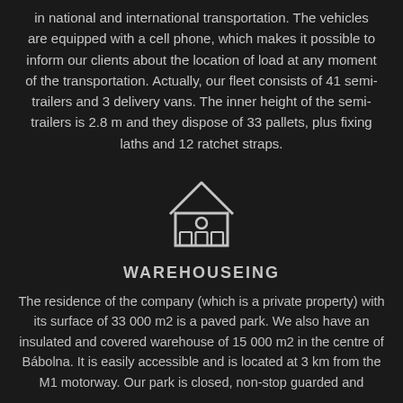in national and international transportation. The vehicles are equipped with a cell phone, which makes it possible to inform our clients about the location of load at any moment of the transportation. Actually, our fleet consists of 41 semi-trailers and 3 delivery vans. The inner height of the semi-trailers is 2.8 m and they dispose of 33 pallets, plus fixing laths and 12 ratchet straps.
[Figure (illustration): Line-art icon of a building/warehouse (house with windows)]
WAREHOUSEING
The residence of the company (which is a private property) with its surface of 33 000 m2 is a paved park. We also have an insulated and covered warehouse of 15 000 m2 in the centre of Bábolna. It is easily accessible and is located at 3 km from the M1 motorway. Our park is closed, non-stop guarded and